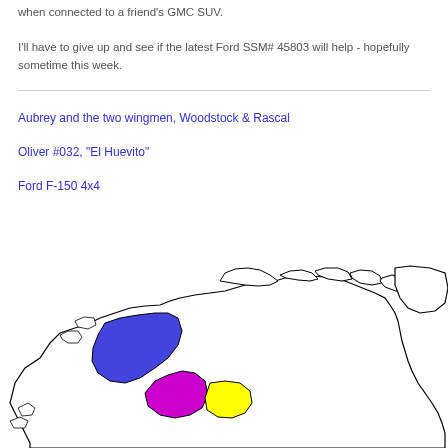when connected to a friend's GMC SUV.
I'll have to give up and see if the latest Ford SSM# 45803 will help - hopefully sometime this week.
Aubrey and the two wingmen, Woodstock & Rascal
Oliver #032, "El Huevito"
Ford F-150 4x4
[Figure (map): Map of North America showing Canada and northern United States with colored regions — a blue region in what appears to be the Yukon/Northwest Territories area, a purple/magenta region, and a yellow region — outlined in black on a white background.]